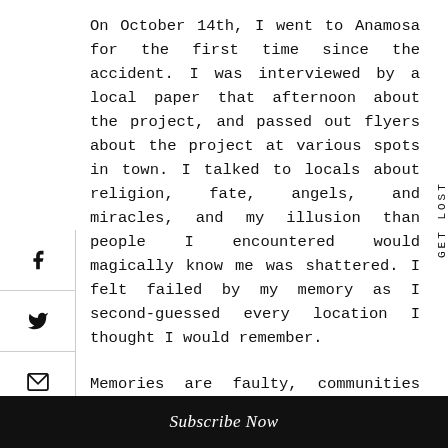On October 14th, I went to Anamosa for the first time since the accident. I was interviewed by a local paper that afternoon about the project, and passed out flyers about the project at various spots in town. I talked to locals about religion, fate, angels, and miracles, and my illusion than people I encountered would magically know me was shattered. I felt failed by my memory as I second-guessed every location I thought I would remember.
Memories are faulty, communities and their residents are complicated. I may not find anyone who has helped me. Still, I remain open to the possibilities, and grateful for the people who have come forward already to offer assistance and connect. This work is as much a portrait of
Subscribe Now